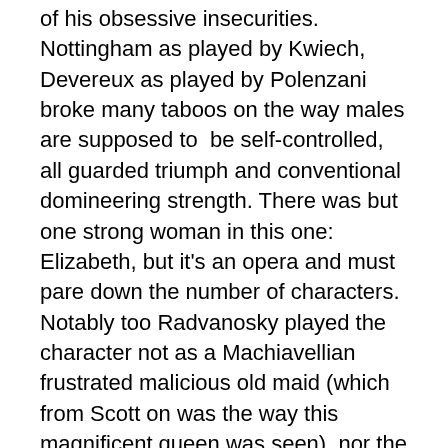of his obsessive insecurities. Nottingham as played by Kwiech, Devereux as played by Polenzani broke many taboos on the way males are supposed to be self-controlled, all guarded triumph and conventional domineering strength. There was but one strong woman in this one: Elizabeth, but it's an opera and must pare down the number of characters. Notably too Radvanosky played the character not as a Machiavellian frustrated malicious old maid (which from Scott on was the way this magnificent queen was seen), nor the recent sentimentalizations we've seen (as in Helen Mirren's film or before her Bette Davis with Errol Flynn in Elizabeth and Essex) but a woman of genuine feeling that has been searingly violated and betrayed and is now shattered, can barely walk, is bald, near death. Radvanosky was not at all ashamed to mime death.